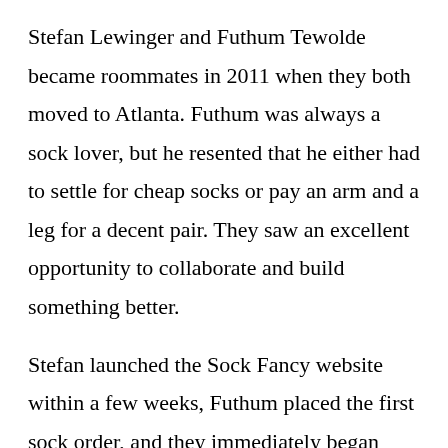Stefan Lewinger and Futhum Tewolde became roommates in 2011 when they both moved to Atlanta. Futhum was always a sock lover, but he resented that he either had to settle for cheap socks or pay an arm and a leg for a decent pair. They saw an excellent opportunity to collaborate and build something better.
Stefan launched the Sock Fancy website within a few weeks, Futhum placed the first sock order, and they immediately began shipping from their living room ping pong table.
Since then, the company has grown significantly;